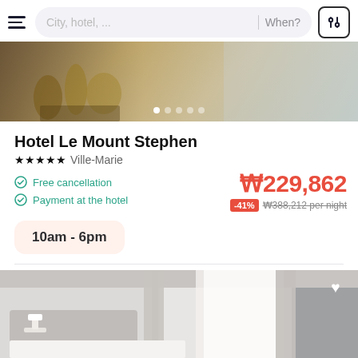[Figure (screenshot): Mobile app navigation bar with hamburger menu, search field showing 'City, hotel, ...', 'When?' date picker, and filter button]
[Figure (photo): Hero image of hotel interior with golden glassware and marble surfaces, with 5 navigation dots at bottom]
Hotel Le Mount Stephen
★★★★★  Ville-Marie
Free cancellation
Payment at the hotel
₩229,862
-41%  ₩388,212 per night
10am - 6pm
[Figure (photo): Hotel room photo showing a neatly made bed with grey headboard, white curtains and drapes, bedside lamp, and a heart/favorite icon in upper right corner]